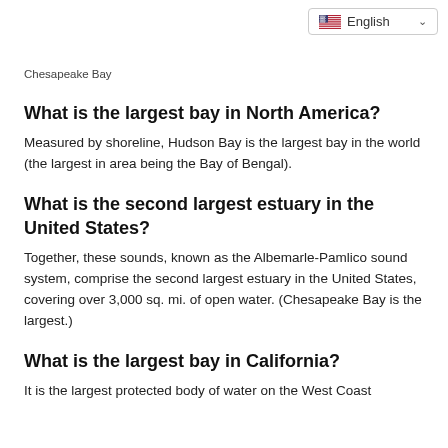English
Chesapeake Bay
What is the largest bay in North America?
Measured by shoreline, Hudson Bay is the largest bay in the world (the largest in area being the Bay of Bengal).
What is the second largest estuary in the United States?
Together, these sounds, known as the Albemarle-Pamlico sound system, comprise the second largest estuary in the United States, covering over 3,000 sq. mi. of open water. (Chesapeake Bay is the largest.)
What is the largest bay in California?
It is the largest protected body of water on the West Coast